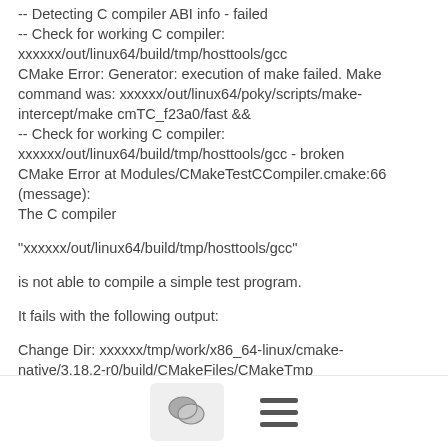-- Detecting C compiler ABI info - failed
-- Check for working C compiler: xxxxxx/out/linux64/build/tmp/hosttools/gcc
CMake Error: Generator: execution of make failed. Make command was: xxxxxx/out/linux64/poky/scripts/make-intercept/make cmTC_f23a0/fast &&
-- Check for working C compiler: xxxxxx/out/linux64/build/tmp/hosttools/gcc - broken
CMake Error at Modules/CMakeTestCCompiler.cmake:66 (message):
  The C compiler

    "xxxxxx/out/linux64/build/tmp/hosttools/gcc"

  is not able to compile a simple test program.

  It fails with the following output:

    Change Dir: xxxxxx/tmp/work/x86_64-linux/cmake-native/3.18.2-r0/build/CMakeFiles/CMakeTmp
[Figure (other): Bottom navigation bar with chat icon button and hamburger menu icon]